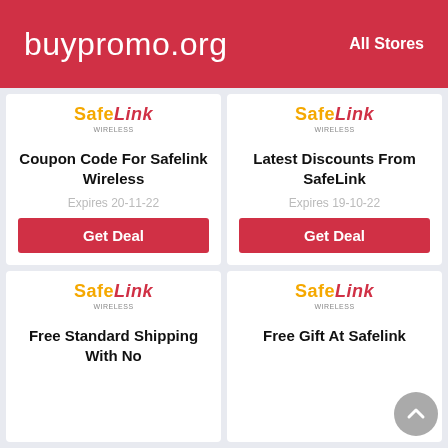buypromo.org   All Stores
[Figure (logo): SafeLink Wireless logo - top left card]
Coupon Code For Safelink Wireless
Expires 20-11-22
Get Deal
[Figure (logo): SafeLink Wireless logo - top right card]
Latest Discounts From SafeLink
Expires 19-10-22
Get Deal
[Figure (logo): SafeLink Wireless logo - bottom left card]
Free Standard Shipping With No
[Figure (logo): SafeLink Wireless logo - bottom right card]
Free Gift At Safelink